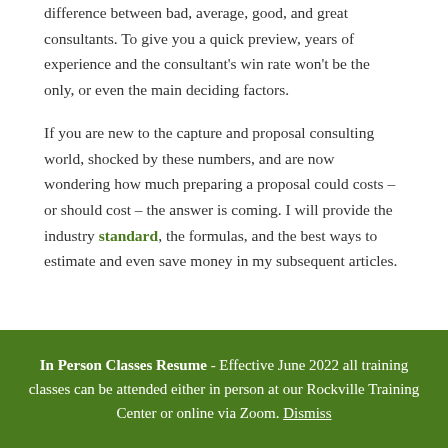difference between bad, average, good, and great consultants. To give you a quick preview, years of experience and the consultant's win rate won't be the only, or even the main deciding factors.

If you are new to the capture and proposal consulting world, shocked by these numbers, and are now wondering how much preparing a proposal could costs – or should cost – the answer is coming. I will provide the industry standard, the formulas, and the best ways to estimate and even save money in my subsequent articles.
In Person Classes Resume - Effective June 2022 all training classes can be attended either in person at our Rockville Training Center or online via Zoom. Dismiss